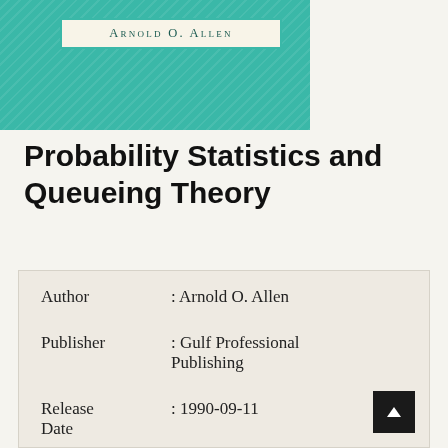[Figure (illustration): Book cover thumbnail with teal/green diagonal-striped background and author name badge reading 'Arnold O. Allen' in small caps]
Probability Statistics and Queueing Theory
| Author | : Arnold O. Allen |
| Publisher | : Gulf Professional Publishing |
| Release Date | : 1990-09-11 |